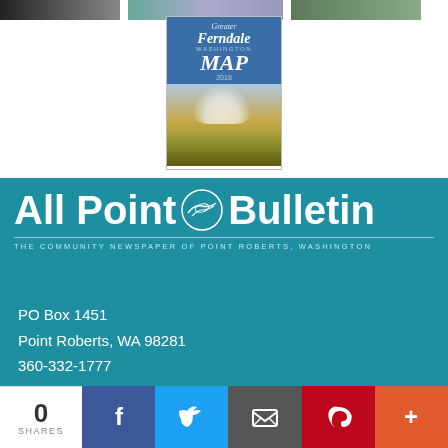[Figure (photo): Top strip of partial images: left shows book/dark covers, center shows outdoor/cycling scene, right shows outdoor/nature scene]
[Figure (illustration): Greater Ferndale Washington MAP 2018 cover showing mountain landscape with golden reeds and snow-capped peak]
[Figure (logo): All Point Bulletin - The Community Newspaper of Point Roberts, Washington logo in white on teal background]
PO Box 1451
Point Roberts, WA 98281
360-332-1777
[Figure (infographic): Social share bar with 0 SHARES count, Facebook, Twitter, Email, Pinterest, and More buttons]